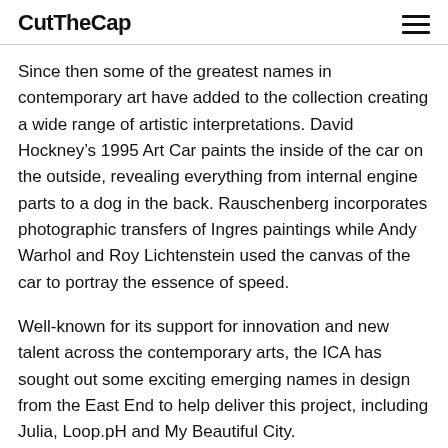CutTheCap
Since then some of the greatest names in contemporary art have added to the collection creating a wide range of artistic interpretations. David Hockney’s 1995 Art Car paints the inside of the car on the outside, revealing everything from internal engine parts to a dog in the back. Rauschenberg incorporates photographic transfers of Ingres paintings while Andy Warhol and Roy Lichtenstein used the canvas of the car to portray the essence of speed.
Well-known for its support for innovation and new talent across the contemporary arts, the ICA has sought out some exciting emerging names in design from the East End to help deliver this project, including Julia, Loop.pH and My Beautiful City.